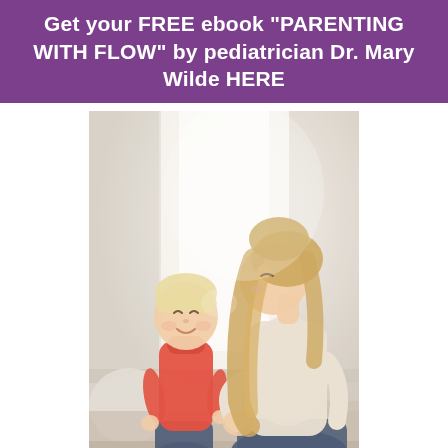Get your FREE ebook "PARENTING WITH FLOW" by pediatrician Dr. Mary Wilde HERE
[Figure (photo): A mother leaning in close to touch noses with her toddler, both seated by a bright window. The toddler wears a red/orange turtleneck and jeans; the mother has long blonde hair and wears a light sweater and jeans.]